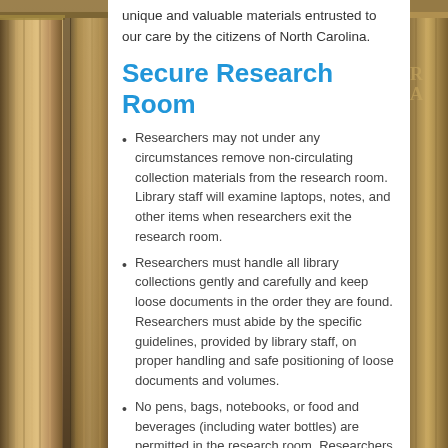unique and valuable materials entrusted to our care by the citizens of North Carolina.
Secure Research Room
Researchers may not under any circumstances remove non-circulating collection materials from the research room. Library staff will examine laptops, notes, and other items when researchers exit the research room.
Researchers must handle all library collections gently and carefully and keep loose documents in the order they are found. Researchers must abide by the specific guidelines, provided by library staff, on proper handling and safe positioning of loose documents and volumes.
No pens, bags, notebooks, or food and beverages (including water bottles) are permitted in the research room. Researchers wishing to bring loose